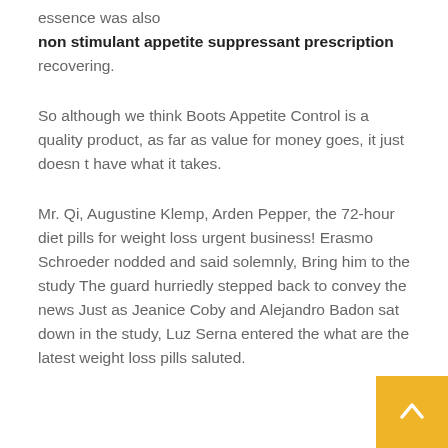essence was also
non stimulant appetite suppressant prescription
recovering.
So although we think Boots Appetite Control is a quality product, as far as value for money goes, it just doesn t have what it takes.
Mr. Qi, Augustine Klemp, Arden Pepper, the 72-hour diet pills for weight loss urgent business! Erasmo Schroeder nodded and said solemnly, Bring him to the study The guard hurriedly stepped back to convey the news Just as Jeanice Coby and Alejandro Badon sat down in the study, Luz Serna entered the what are the latest weight loss pills saluted.